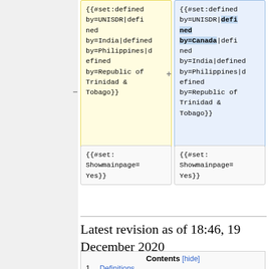{{#set:defined by=UNISDR|defined by=India|defined by=Philippines|defined by=Republic of Trinidad & Tobago}}
{{#set:defined by=UNISDR|defined by=Canada|defined by=India|defined by=Philippines|defined by=Republic of Trinidad & Tobago}}
{{#set:Showmainpage=Yes}}
{{#set:Showmainpage=Yes}}
Latest revision as of 18:46, 19 December 2020
| Contents [hide] |
| --- |
| 1  Definitions |
| 1.1  Other International Definitions |